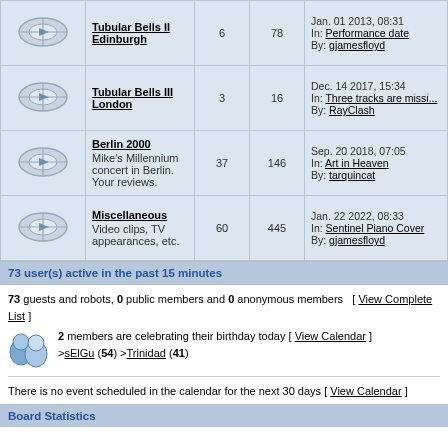|  | Forum | Topics | Posts | Last Post |
| --- | --- | --- | --- | --- |
| [icon] | Tubular Bells II Edinburgh | 6 | 78 | Jan. 01 2013, 08:31
In: Performance date
By: gjamesfloyd |
| [icon] | Tubular Bells III London | 3 | 16 | Dec. 14 2017, 15:34
In: Three tracks are missi...
By: RayClash |
| [icon] | Berlin 2000
Mike's Millennium concert in Berlin. Your reviews. | 37 | 146 | Sep. 20 2018, 07:05
In: Art in Heaven
By: tarquincat |
| [icon] | Miscellaneous
Video clips, TV appearances, etc. | 60 | 445 | Jan. 22 2022, 08:33
In: Sentinel Piano Cover
By: gjamesfloyd |
73 user(s) active in the past 15 minutes
73 guests and robots, 0 public members and 0 anonymous members [ View Complete List ]
2 members are celebrating their birthday today [ View Calendar ]
>sElGu (54) >Trinidad (41)
There is no event scheduled in the calendar for the next 30 days [ View Calendar ]
Board Statistics